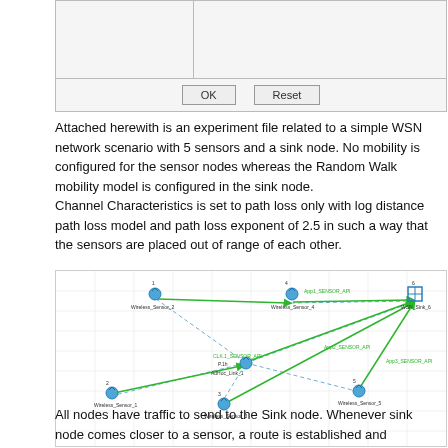[Figure (screenshot): Dialog box with two sections and OK/Reset buttons at the bottom]
Attached herewith is an experiment file related to a simple WSN network scenario with 5 sensors and a sink node. No mobility is configured for the sensor nodes whereas the Random Walk mobility model is configured in the sink node.
Channel Characteristics is set to path loss only with log distance path loss model and path loss exponent of 2.5 in such a way that the sensors are placed out of range of each other.
[Figure (network-graph): Network simulation diagram showing Wireless_Sensor_1, Wireless_Sensor_2, Wireless_Sensor_3, Wireless_Sensor_4, Wireless_Sensor_5, WSN_Sink_6 nodes with green and blue dashed connecting lines, and labels for App1_SENSOR_API, App2_SENSOR_API, App3_SENSOR_API, AdHoc_Link_1]
All nodes have traffic to send to the Sink node. Whenever sink node comes closer to a sensor, a route is established and packets are